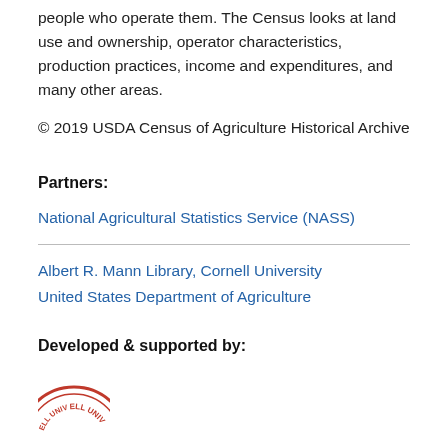people who operate them. The Census looks at land use and ownership, operator characteristics, production practices, income and expenditures, and many other areas.
© 2019 USDA Census of Agriculture Historical Archive
Partners:
National Agricultural Statistics Service (NASS)
Albert R. Mann Library, Cornell University
United States Department of Agriculture
Developed & supported by:
[Figure (logo): Partial Cornell University circular seal/logo in red]